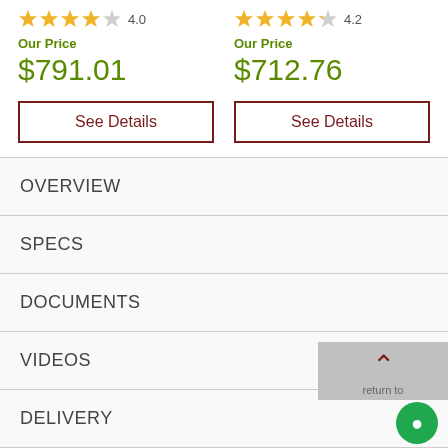[Figure (other): Star rating 4.0 out of 5 stars]
Our Price
$791.01
See Details
[Figure (other): Star rating 4.2 out of 5 stars]
Our Price
$712.76
See Details
OVERVIEW
SPECS
DOCUMENTS
VIDEOS
DELIVERY